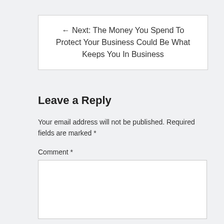← Next: The Money You Spend To Protect Your Business Could Be What Keeps You In Business
Leave a Reply
Your email address will not be published. Required fields are marked *
Comment *